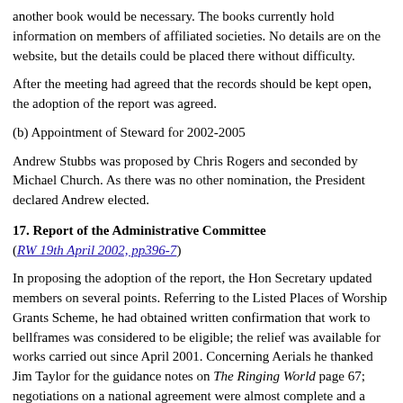another book would be necessary. The books currently hold information on members of affiliated societies. No details are on the website, but the details could be placed there without difficulty.
After the meeting had agreed that the records should be kept open, the adoption of the report was agreed.
(b) Appointment of Steward for 2002-2005
Andrew Stubbs was proposed by Chris Rogers and seconded by Michael Church. As there was no other nomination, the President declared Andrew elected.
17. Report of the Administrative Committee (RW 19th April 2002, pp396-7)
In proposing the adoption of the report, the Hon Secretary updated members on several points. Referring to the Listed Places of Worship Grants Scheme, he had obtained written confirmation that work to bellframes was considered to be eligible; the relief was available for works carried out since April 2001. Concerning Aerials he thanked Jim Taylor for the guidance notes on The Ringing World page 67; negotiations on a national agreement were almost complete and a formal announcement would be made in week commencing 24th June. Details of the meeting with the